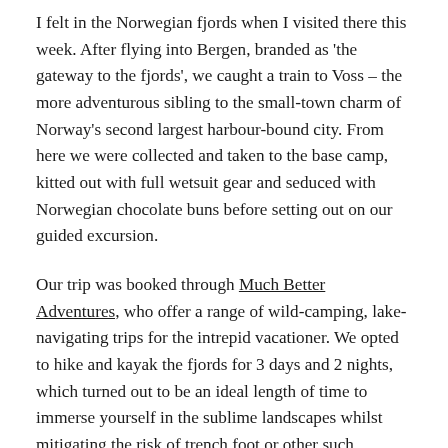I felt in the Norwegian fjords when I visited there this week. After flying into Bergen, branded as 'the gateway to the fjords', we caught a train to Voss – the more adventurous sibling to the small-town charm of Norway's second largest harbour-bound city. From here we were collected and taken to the base camp, kitted out with full wetsuit gear and seduced with Norwegian chocolate buns before setting out on our guided excursion.
Our trip was booked through Much Better Adventures, who offer a range of wild-camping, lake-navigating trips for the intrepid vacationer. We opted to hike and kayak the fjords for 3 days and 2 nights, which turned out to be an ideal length of time to immerse yourself in the sublime landscapes whilst mitigating the risk of trench foot or other such hazardous conditions that your parents undoubtedly worry you'll acquire if you spend more than 4 days outside.